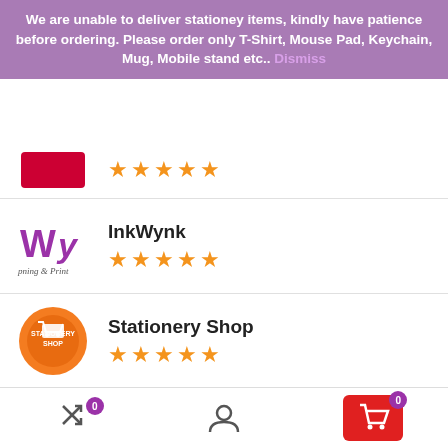We are unable to deliver stationery items, kindly have patience before ordering. Please order only T-Shirt, Mouse Pad, Keychain, Mug, Mobile stand etc.. Dismiss
[Figure (logo): Partial red-background logo at top]
[Figure (logo): InkWynk logo - Wy letters in purple with 'pning & Print' text]
InkWynk
[Figure (logo): Stationery Shop orange circular logo with shopping cart]
Stationery Shop
[Figure (logo): Toy Shop teal circular logo with shop awning]
Toy Shop